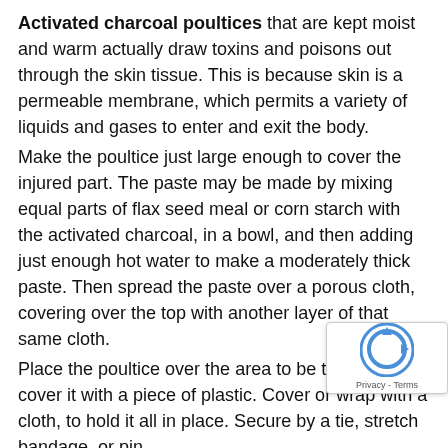Activated charcoal poultices that are kept moist and warm actually draw toxins and poisons out through the skin tissue. This is because skin is a permeable membrane, which permits a variety of liquids and gases to enter and exit the body.
Make the poultice just large enough to cover the injured part. The paste may be made by mixing equal parts of flax seed meal or corn starch with the activated charcoal, in a bowl, and then adding just enough hot water to make a moderately thick paste. Then spread the paste over a porous cloth, covering over the top with another layer of that same cloth.
Place the poultice over the area to be treated and cover it with a piece of plastic. Cover or wrap with a cloth, to hold it all in place. Secure by a tie, stretch bandage, or pin.
Apply the activated charcoal poultice for 1 or 2 hours. If applied at bedtime, leave it on overnight. Adsorption takes place almost immediately. When it is removed, wash or gently cleanse the area with cool water. Repeat